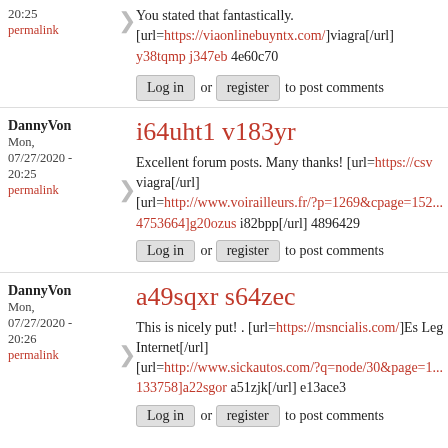20:25
permalink
You stated that fantastically. [url=https://viaonlinebuyntx.com/]viagra[/url] y38tqmp j347eb 4e60c70
Log in or register to post comments
DannyVon
Mon, 07/27/2020 - 20:25
permalink
i64uht1 v183yr
Excellent forum posts. Many thanks! [url=https://csv... viagra[/url] [url=http://www.voirailleurs.fr/?p=1269&cpage=152... 4753664]g20ozus i82bpp[/url] 4896429
Log in or register to post comments
DannyVon
Mon, 07/27/2020 - 20:26
permalink
a49sqxr s64zec
This is nicely put! . [url=https://msncialis.com/]Es Leg Internet[/url] [url=http://www.sickautos.com/?q=node/30&page=1... 133758]a22sgor a51zjk[/url] e13ace3
Log in or register to post comments